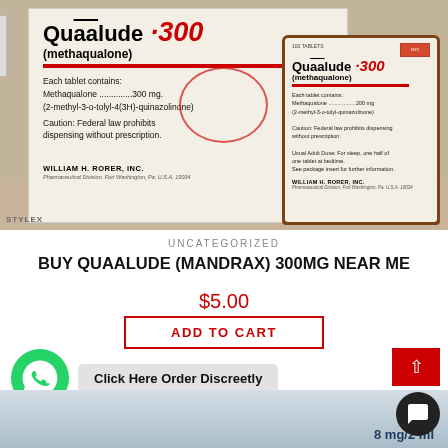[Figure (photo): Two Quaalude-300 (methaqualone) pharmaceutical packages by William H. Rorer, Inc. — one cardboard box (left) and one amber glass bottle (right) — displayed on a table surface. Both packages show the brand name Quaalude-300 (methaqualone), ingredient details (Methaqualone 300 mg), and caution about federal prescription law.]
UNCATEGORIZED
BUY QUAALUDE (MANDRAX) 300MG NEAR ME
$5.00
ADD TO CART
Click Here Order Discreetly
[Figure (photo): Partial bottom image strip showing pharmaceutical packaging, partially cut off. Shows '8 mg/2 ml' text on blue packaging.]